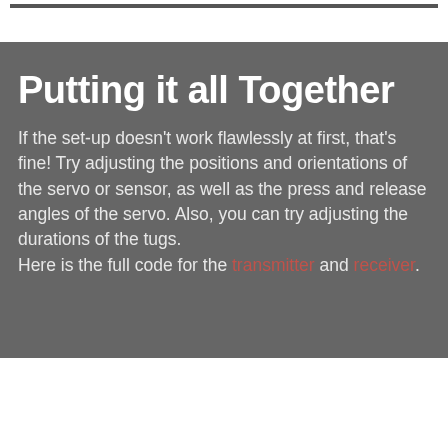Putting it all Together
If the set-up doesn't work flawlessly at first, that's fine! Try adjusting the positions and orientations of the servo or sensor, as well as the press and release angles of the servo. Also, you can try adjusting the durations of the tugs.
Here is the full code for the transmitter and receiver.